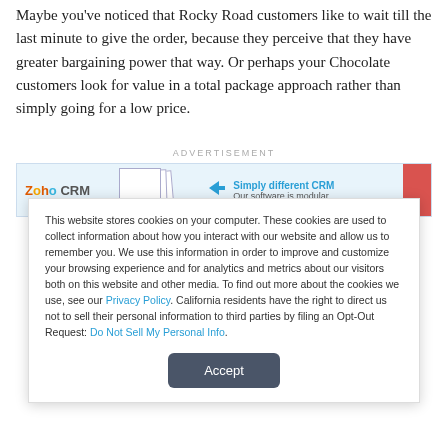Maybe you've noticed that Rocky Road customers like to wait till the last minute to give the order, because they perceive that they have greater bargaining power that way. Or perhaps your Chocolate customers look for value in a total package approach rather than simply going for a low price.
[Figure (screenshot): Advertisement banner for Zoho CRM showing logo, document pages graphic, arrow, and text 'Simply different CRM / Our software is modular' with red CTA button]
This website stores cookies on your computer. These cookies are used to collect information about how you interact with our website and allow us to remember you. We use this information in order to improve and customize your browsing experience and for analytics and metrics about our visitors both on this website and other media. To find out more about the cookies we use, see our Privacy Policy. California residents have the right to direct us not to sell their personal information to third parties by filing an Opt-Out Request: Do Not Sell My Personal Info.